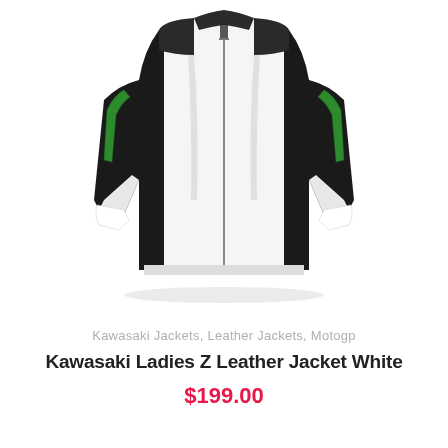[Figure (photo): A white, black, and green Kawasaki ladies motorcycle leather jacket displayed against a white background, shown from the front with arms slightly out.]
Kawasaki Jackets, Leather Jackets, Motogp
Kawasaki Ladies Z Leather Jacket White
$199.00